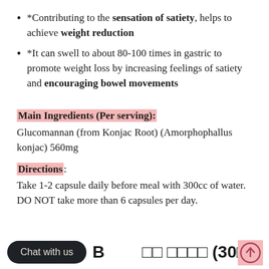*Contributing to the sensation of satiety, helps to achieve weight reduction
*It can swell to about 80-100 times in gastric to promote weight loss by increasing feelings of satiety and encouraging bowel movements
Main Ingredients (Per serving):
Glucomannan (from Konjac Root) (Amorphophallus konjac) 560mg
Directions:
Take 1-2 capsule daily before meal with 300cc of water. DO NOT take more than 6 capsules per day.
B□ □□□ □□□□ (30□/□)□□□□□□